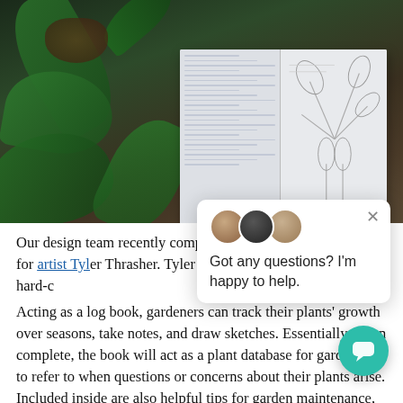[Figure (photo): Overhead photo of potted tropical plants (monstera and other greenery) on a wooden surface with an open notebook/sketchbook showing handwritten notes and plant sketches.]
Our design team recently completed a risograph printing job for artist Tyler Thrasher. Tyler makes an excellent book for hard-core plant lovers.
Acting as a log book, gardeners can track their plants' growth over seasons, take notes, and draw sketches. Essentially, when complete, the book will act as a plant database for gardeners to refer to when questions or concerns about their plants arise. Included inside are also helpful tips for garden maintenance, pest control
[Figure (screenshot): Live chat popup overlay showing three avatar photos, an X close button, and the message 'Got any questions? I'm happy to help.' with a teal chat button icon in the bottom right corner.]